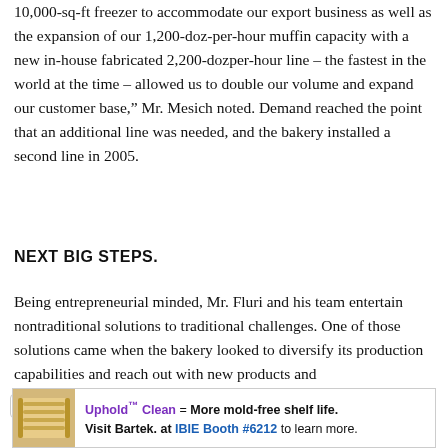10,000-sq-ft freezer to accommodate our export business as well as the expansion of our 1,200-doz-per-hour muffin capacity with a new in-house fabricated 2,200-dozper-hour line – the fastest in the world at the time – allowed us to double our volume and expand our customer base," Mr. Mesich noted. Demand reached the point that an additional line was needed, and the bakery installed a second line in 2005.
NEXT BIG STEPS.
Being entrepreneurial minded, Mr. Fluri and his team entertain nontraditional solutions to traditional challenges. One of those solutions came when the bakery looked to diversify its production capabilities and reach out with new products and customers that could not be supplied because of the
[Figure (other): Advertisement banner for Bartek featuring bread image. Text reads: Uphold™ Clean = More mold-free shelf life. Visit Bartek. at IBIE Booth #6212 to learn more.]